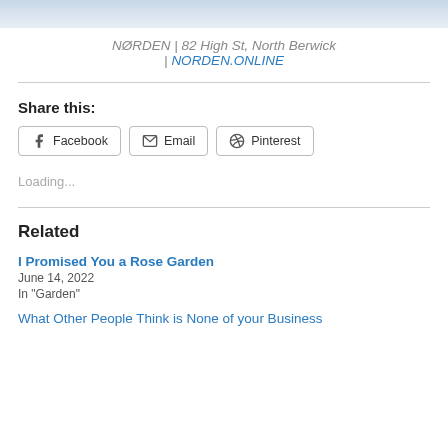[Figure (photo): Partial image at top of page, light blue/grey gradient]
NØRDEN | 82 High St, North Berwick | NORDEN.ONLINE
Share this:
Facebook  Email  Pinterest
Loading...
Related
I Promised You a Rose Garden
June 14, 2022
In "Garden"
What Other People Think is None of your Business